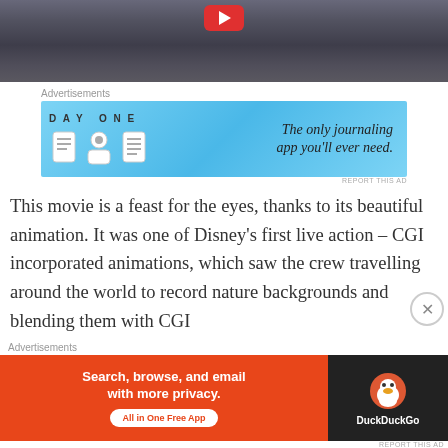[Figure (screenshot): Video thumbnail showing a dark water/nature scene with a red play button at the top center]
Advertisements
[Figure (screenshot): DAY ONE journaling app advertisement banner with blue background showing app icons and text: The only journaling app you'll ever need.]
This movie is a feast for the eyes, thanks to its beautiful animation. It was one of Disney's first live action – CGI incorporated animations, which saw the crew travelling around the world to record nature backgrounds and blending them with CGI
Advertisements
[Figure (screenshot): DuckDuckGo advertisement: Search, browse, and email with more privacy. All in One Free App]